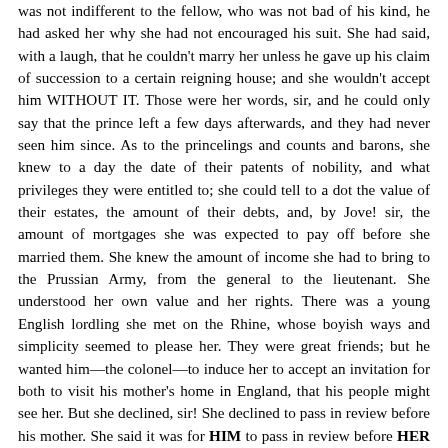was not indifferent to the fellow, who was not bad of his kind, he had asked her why she had not encouraged his suit. She had said, with a laugh, that he couldn't marry her unless he gave up his claim of succession to a certain reigning house; and she wouldn't accept him WITHOUT IT. Those were her words, sir, and he could only say that the prince left a few days afterwards, and they had never seen him since. As to the princelings and counts and barons, she knew to a day the date of their patents of nobility, and what privileges they were entitled to; she could tell to a dot the value of their estates, the amount of their debts, and, by Jove! sir, the amount of mortgages she was expected to pay off before she married them. She knew the amount of income she had to bring to the Prussian Army, from the general to the lieutenant. She understood her own value and her rights. There was a young English lordling she met on the Rhine, whose boyish ways and simplicity seemed to please her. They were great friends; but he wanted him—the colonel—to induce her to accept an invitation for both to visit his mother's home in England, that his people might see her. But she declined, sir! She declined to pass in review before his mother. She said it was for HIM to pass in review before HER mother.